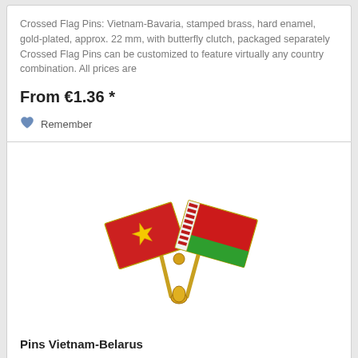Crossed Flag Pins: Vietnam-Bavaria, stamped brass, hard enamel, gold-plated, approx. 22 mm, with butterfly clutch, packaged separately Crossed Flag Pins can be customized to feature virtually any country combination. All prices are
From €1.36 *
Remember
[Figure (photo): Crossed flag pin product image showing Vietnam flag (red with yellow star) and Belarus flag (red-green with ornamental stripe) crossed on a gold pin base]
Pins Vietnam-Belarus